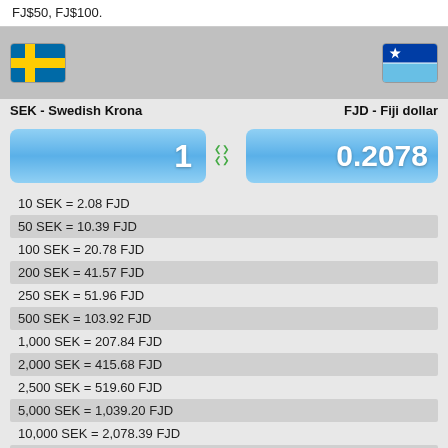FJ$50, FJ$100.
[Figure (infographic): Currency converter header showing Swedish flag (SEK) on left and Fiji flag (FJD) on right with gray background]
SEK - Swedish Krona    FJD - Fiji dollar
[Figure (infographic): Currency input boxes showing 1 SEK and 0.2078 FJD with blue gradient backgrounds and swap arrows]
| 10 SEK = 2.08 FJD |
| 50 SEK = 10.39 FJD |
| 100 SEK = 20.78 FJD |
| 200 SEK = 41.57 FJD |
| 250 SEK = 51.96 FJD |
| 500 SEK = 103.92 FJD |
| 1,000 SEK = 207.84 FJD |
| 2,000 SEK = 415.68 FJD |
| 2,500 SEK = 519.60 FJD |
| 5,000 SEK = 1,039.20 FJD |
| 10,000 SEK = 2,078.39 FJD |
| 20,000 SEK = 4,156.79 FJD |
| 25,000 SEK = 5,195.98 FJD |
| 50,000 SEK = 10,391.97 FJD |